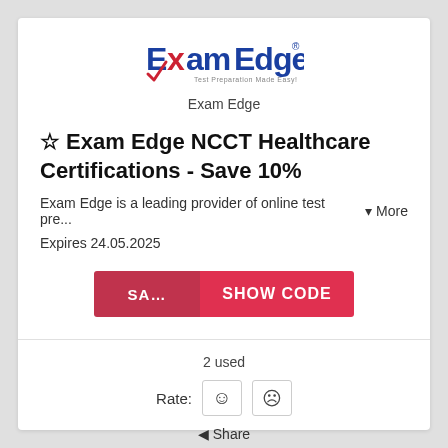[Figure (logo): ExamEdge logo with blue and red text and checkmark, tagline below]
Exam Edge
☆ Exam Edge NCCT Healthcare Certifications - Save 10%
Exam Edge is a leading provider of online test pre...  ▾ More
Expires 24.05.2025
[Figure (other): Show Code button with partial code 'SA...' on left and 'SHOW CODE' on right, red background]
2 used
Rate: ☺ ☹
◄ Share